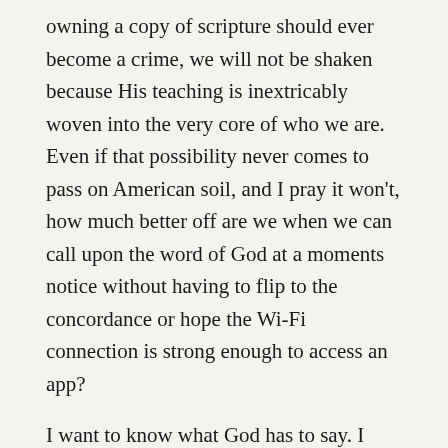owning a copy of scripture should ever become a crime, we will not be shaken because His teaching is inextricably woven into the very core of who we are. Even if that possibility never comes to pass on American soil, and I pray it won't, how much better off are we when we can call upon the word of God at a moments notice without having to flip to the concordance or hope the Wi-Fi connection is strong enough to access an app?
I want to know what God has to say. I want to know His heart. I want to be so in tune with His word that I always